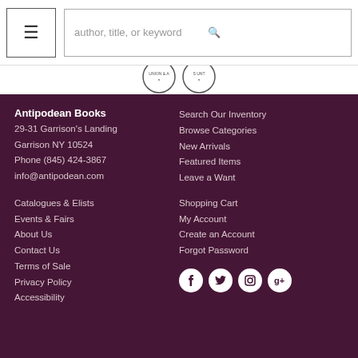author, title, or keyword [search bar with menu button]
[Figure (logo): Two circular seal/badge logos partially visible at top]
Antipodean Books
29-31 Garrison's Landing
Garrison NY 10524
Phone (845) 424-3867
info@antipodean.com
Search Our Inventory
Browse Categories
New Arrivals
Featured Items
Leave a Want
Catalogues & Elists
Events & Fairs
About Us
Contact Us
Terms of Sale
Privacy Policy
Accessibility
Shopping Cart
My Account
Create an Account
Forgot Password
[Figure (illustration): Social media icons: Facebook, Twitter, Instagram, Google+]